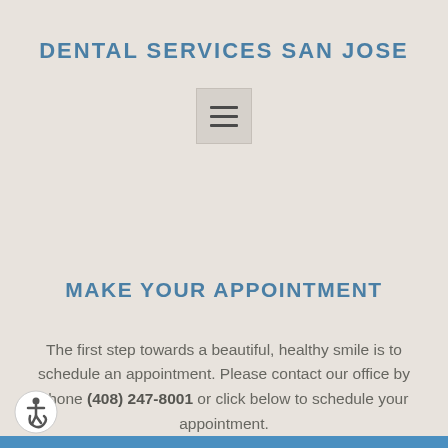DENTAL SERVICES SAN JOSE
[Figure (other): Hamburger menu icon — three horizontal lines in a rounded square button]
MAKE YOUR APPOINTMENT
The first step towards a beautiful, healthy smile is to schedule an appointment. Please contact our office by phone (408) 247-8001 or click below to schedule your appointment.
[Figure (other): Wheelchair accessibility icon in a circle, bottom left corner]